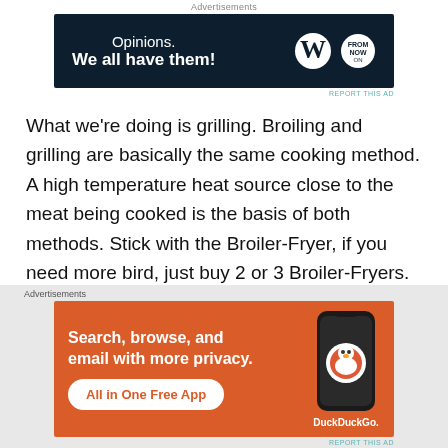Advertisements
[Figure (screenshot): Banner advertisement with dark navy background. Text reads 'Opinions. We all have them!' with WordPress logo and another circular logo on the right.]
REPORT THIS AD
What we're doing is grilling. Broiling and grilling are basically the same cooking method. A high temperature heat source close to the meat being cooked is the basis of both methods. Stick with the Broiler-Fryer, if you need more bird, just buy 2 or 3 Broiler-Fryers.
Ingredients:
Roaster-Fryer chickens, 2 pounds per person, this may
[Figure (screenshot): DuckDuckGo advertisement on orange background. Text reads 'Search, browse, and email with more privacy. All in One Free App' with a phone image showing DuckDuckGo logo.]
REPORT THIS AD